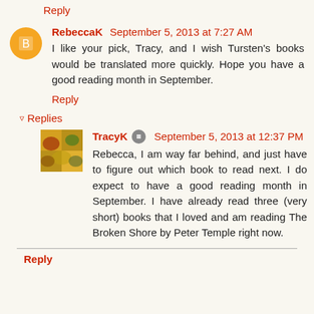Reply
RebeccaK  September 5, 2013 at 7:27 AM
I like your pick, Tracy, and I wish Tursten's books would be translated more quickly. Hope you have a good reading month in September.
Reply
Replies
TracyK  September 5, 2013 at 12:37 PM
Rebecca, I am way far behind, and just have to figure out which book to read next. I do expect to have a good reading month in September. I have already read three (very short) books that I loved and am reading The Broken Shore by Peter Temple right now.
Reply